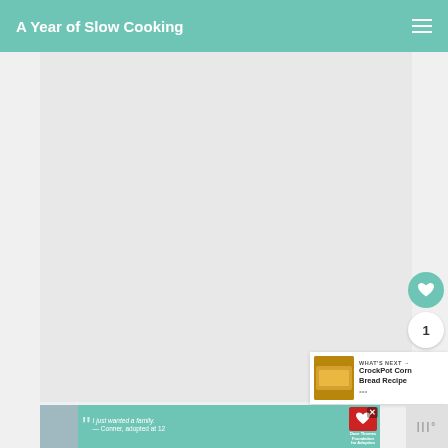A Year of Slow Cooking
[Figure (photo): Large rectangular image area (blank/loading) forming the main content area of the blog post]
[Figure (infographic): What's Next panel showing thumbnail of cornbread and text: WHAT'S NEXT → CrockPot Corn Bread Recipe]
[Figure (photo): Advertisement banner: Dave Thomas Foundation for Adoption. Quote: I just wanted a family. — Conner, adopted at 12. With a photo of a young man and the foundation logo.]